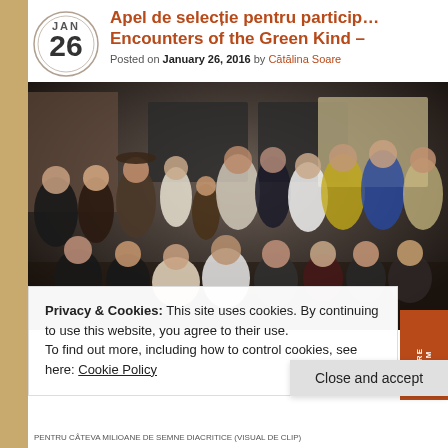Apel de selecție pentru particip… Encounters of the Green Kind –
Posted on January 26, 2016 by Cătălina Soare
[Figure (photo): Group photo of approximately 20 people, some in costumes, posed together indoors at an event. Banners and signage visible in background.]
Privacy & Cookies: This site uses cookies. By continuing to use this website, you agree to their use.
To find out more, including how to control cookies, see here: Cookie Policy
Close and accept
PENTRU CÂTEVA MILIOANE DE SEMNE DIACRITICE (VISUAL DE CLIP)